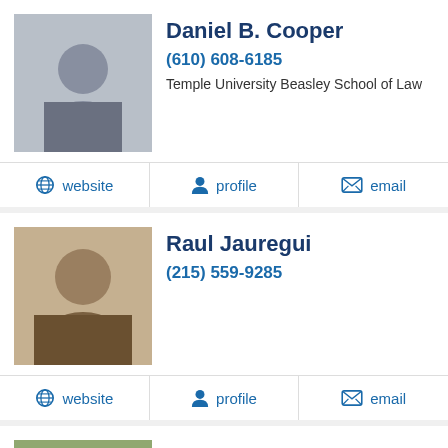Daniel B. Cooper
(610) 608-6185
Temple University Beasley School of Law
website  profile  email
Raul Jauregui
(215) 559-9285
website  profile  email
David J. MacMain
(484) 318-7106
Temple University Beasley School of Law